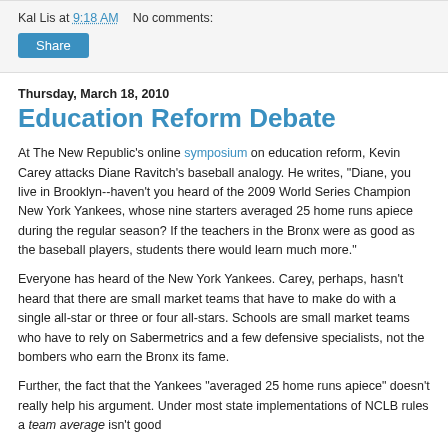Kal Lis at 9:18 AM    No comments:
Share
Thursday, March 18, 2010
Education Reform Debate
At The New Republic's online symposium on education reform, Kevin Carey attacks Diane Ravitch's baseball analogy. He writes, "Diane, you live in Brooklyn--haven't you heard of the 2009 World Series Champion New York Yankees, whose nine starters averaged 25 home runs apiece during the regular season? If the teachers in the Bronx were as good as the baseball players, students there would learn much more."
Everyone has heard of the New York Yankees. Carey, perhaps, hasn't heard that there are small market teams that have to make do with a single all-star or three or four all-stars. Schools are small market teams who have to rely on Sabermetrics and a few defensive specialists, not the bombers who earn the Bronx its fame.
Further, the fact that the Yankees "averaged 25 home runs apiece" doesn't really help his argument. Under most state implementations of NCLB rules a team average isn't good